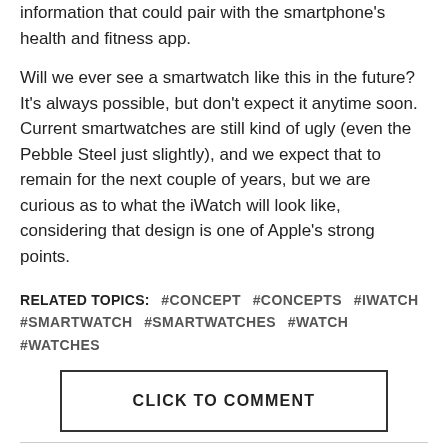information that could pair with the smartphone's health and fitness app.
Will we ever see a smartwatch like this in the future? It's always possible, but don't expect it anytime soon. Current smartwatches are still kind of ugly (even the Pebble Steel just slightly), and we expect that to remain for the next couple of years, but we are curious as to what the iWatch will look like, considering that design is one of Apple's strong points.
RELATED TOPICS: #CONCEPT #CONCEPTS #IWATCH #SMARTWATCH #SMARTWATCHES #WATCH #WATCHES
CLICK TO COMMENT
As an Amazon Associate I earn from qualifying purchases.